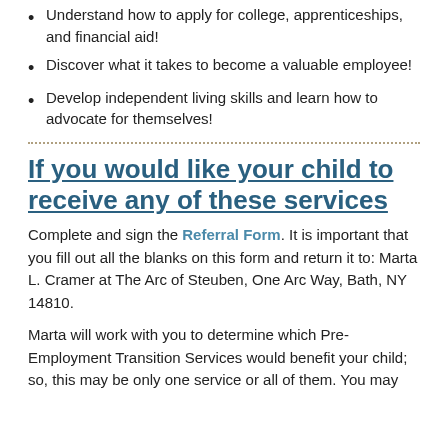Understand how to apply for college, apprenticeships, and financial aid!
Discover what it takes to become a valuable employee!
Develop independent living skills and learn how to advocate for themselves!
If you would like your child to receive any of these services
Complete and sign the Referral Form. It is important that you fill out all the blanks on this form and return it to: Marta L. Cramer at The Arc of Steuben, One Arc Way, Bath, NY 14810.
Marta will work with you to determine which Pre-Employment Transition Services would benefit your child; so, this may be only one service or all of them. You may